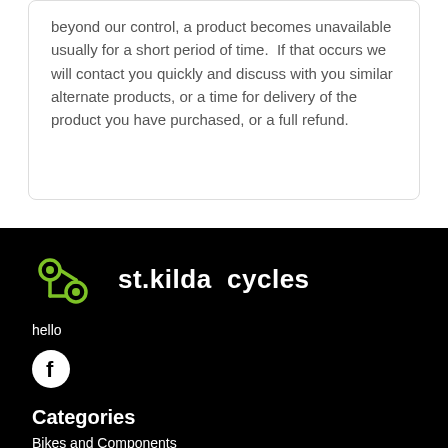beyond our control, a product becomes unavailable usually for a short period of time.  If that occurs we will contact you quickly and discuss with you similar alternate products, or a time for delivery of the product you have purchased, or a full refund.
[Figure (logo): St. Kilda Cycles logo: green bicycle chain/sprocket icon on the left, white bold text 'st.kilda cycles' on the right, on black background]
hello
[Figure (illustration): Facebook circular icon in white on black background]
Categories
Bikes and Components